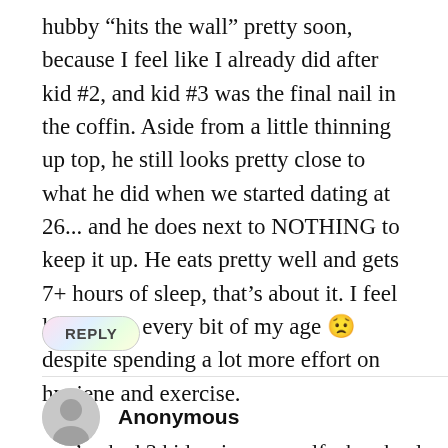hubby “hits the wall” pretty soon, because I feel like I already did after kid #2, and kid #3 was the final nail in the coffin. Aside from a little thinning up top, he still looks pretty close to what he did when we started dating at 26... and he does next to NOTHING to keep it up. He eats pretty well and gets 7+ hours of sleep, that’s about it. I feel like I look every bit of my age 😟 despite spending a lot more effort on hygiene and exercise.
REPLY
Anonymous
you’ve had 3 kids, give yourself a break, also